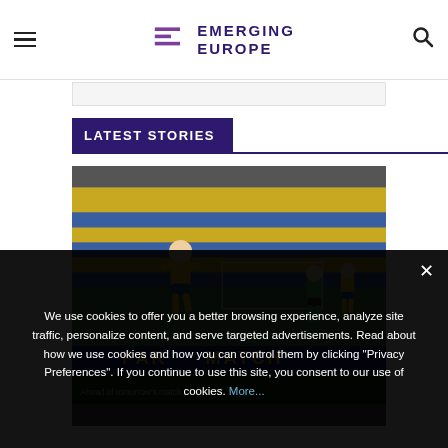Emerging Europe
[Figure (photo): Football players in yellow jerseys on a stadium pitch with blue/yellow seats in background and PARIMATCH advertising board]
LATEST STORIES
We use cookies to offer you a better browsing experience, analyze site traffic, personalize content, and serve targeted advertisements. Read about how we use cookies and how you can control them by clicking "Privacy Preferences". If you continue to use this site, you consent to our use of cookies. More...